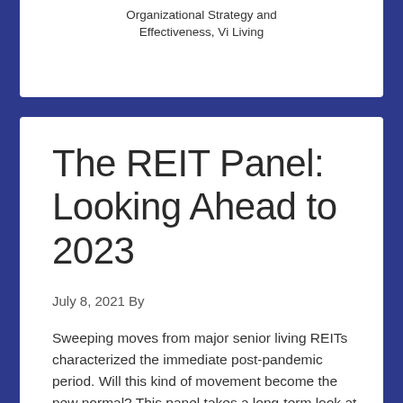Organizational Strategy and Effectiveness, Vi Living
The REIT Panel: Looking Ahead to 2023
July 8, 2021 By
Sweeping moves from major senior living REITs characterized the immediate post-pandemic period. Will this kind of movement become the new normal? This panel takes a long-term look at various